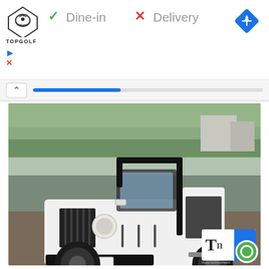[Figure (screenshot): Screenshot of a web UI showing Topgolf logo, Dine-in and Delivery options with check and X marks, a blue navigation diamond icon, a chevron up button, and a progress bar]
[Figure (photo): Photo of a white open-top vintage Mahindra/Willys-style jeep parked outdoors, license plate area shows 'TECHN WHEELZ', trees and buildings visible in background, Techn Wheelz watermark logo in bottom right corner]